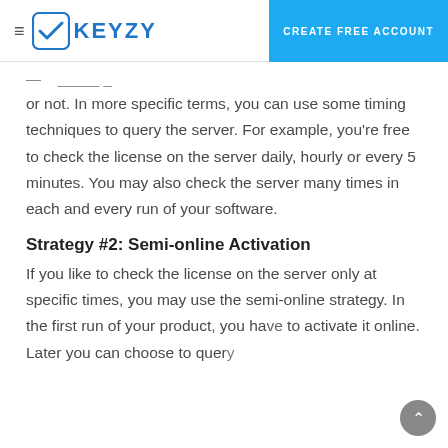KEYZY — CREATE FREE ACCOUNT
or not. In more specific terms, you can use some timing techniques to query the server. For example, you're free to check the license on the server daily, hourly or every 5 minutes. You may also check the server many times in each and every run of your software.
Strategy #2: Semi-online Activation
If you like to check the license on the server only at specific times, you may use the semi-online strategy. In the first run of your product, you have to activate it online. Later you can choose to query